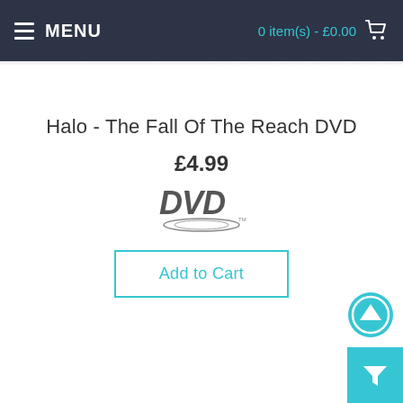MENU   0 item(s) - £0.00
Halo - The Fall Of The Reach DVD
£4.99
[Figure (logo): DVD logo — stylized DVD text with disc graphic underneath]
Add to Cart